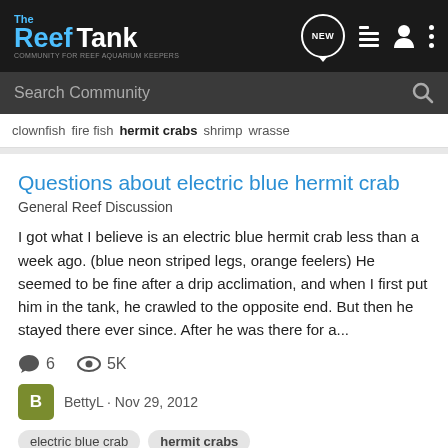[Figure (screenshot): The Reef Tank website header with logo and navigation icons including NEW chat bubble, list icon, user icon, and three-dot menu]
Search Community
clownfish
fire fish
hermit crabs (active/bold)
shrimp
wrasse
Questions about electric blue hermit crab
General Reef Discussion
I got what I believe is an electric blue hermit crab less than a week ago. (blue neon striped legs, orange feelers) He seemed to be fine after a drip acclimation, and when I first put him in the tank, he crawled to the opposite end. But then he stayed there ever since. After he was there for a...
6  5K
BettyL · Nov 29, 2012
electric blue crab
hermit crabs